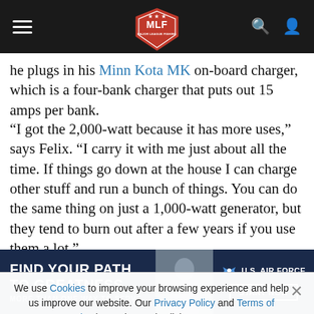MLF Major League Fishing navigation bar
he plugs in his Minn Kota MK on-board charger, which is a four-bank charger that puts out 15 amps per bank.
“I got the 2,000-watt because it has more uses,” says Felix. “I carry it with me just about all the time. If things go down at the house I can charge other stuff and run a bunch of things. You can do the same thing on just a 1,000-watt generator, but they tend to burn out after a few years if you use them a lot.”
Felix says that the unit is waterproof and can run in the rain all
We use Cookies to improve your browsing experience and help us improve our website. Our Privacy Policy and Terms of Service have changed. Click OK to agree.
[Figure (screenshot): U.S. Air Force advertisement: FIND YOUR PATH TO GREATNESS, MORE THAN ONE WAY TO SERVE, with a photo of a person in uniform and a START NOW button.]